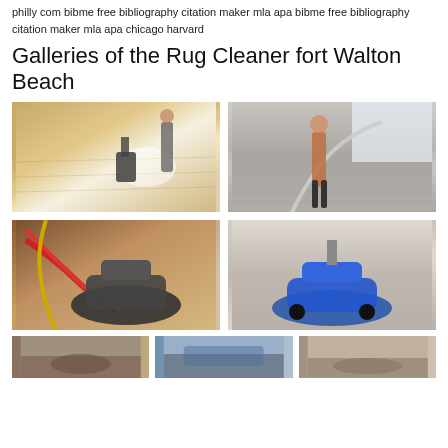philly com bibme free bibliography citation maker mla apa bibme free bibliography citation maker mla apa chicago harvard
Galleries of the Rug Cleaner fort Walton Beach
[Figure (photo): Photo of a floor cleaning machine on a hardwood/carpet floor with bright light reflection]
[Figure (photo): Photo of a person using a steam cleaning hose on a grey carpet indoors]
[Figure (photo): Close-up photo of a carpet cleaning machine with red hose attachments on carpet]
[Figure (photo): Photo of a blue carpet cleaning machine on light-colored carpet]
[Figure (photo): Bottom row photo 1 of carpet cleaning]
[Figure (photo): Bottom row photo 2 of carpet cleaning]
[Figure (photo): Bottom row photo 3 of carpet cleaning]